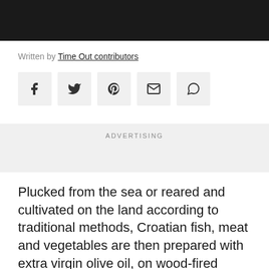Written by Time Out contributors
[Figure (other): Row of social media sharing icons: Facebook, Twitter, Pinterest, Email, WhatsApp]
ADVERTISING
Plucked from the sea or reared and cultivated on the land according to traditional methods, Croatian fish, meat and vegetables are then prepared with extra virgin olive oil, on wood-fired grills, on road-side spits and beneath slow-